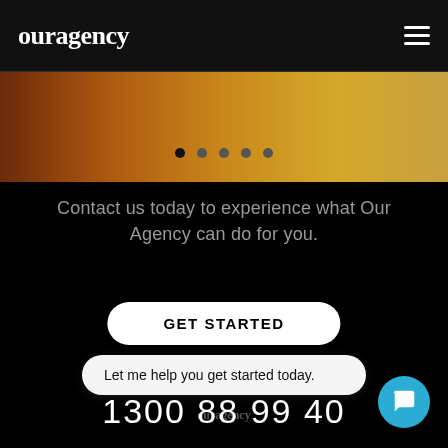ouragency
[Figure (other): Gradient banner with warm brown to orange-gold gradient]
Contact us today to experience what Our Agency can do for you.
GET STARTED
Let me help you get started today.
ouragency
1300 88 99 40